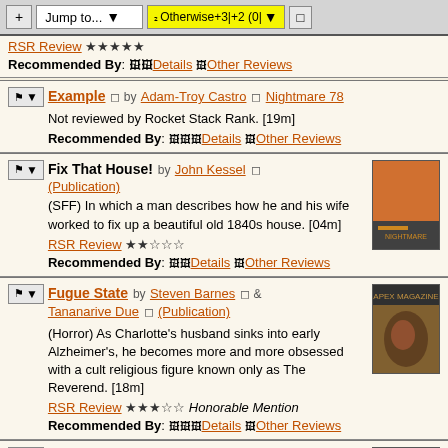Toolbar: + | Jump to... | ₂Otherwise+3|+2 (0| | □
RSR Review ★★★★★
Recommended By: Details | Other Reviews
Example ◻ by Adam-Troy Castro ◻ Nightmare 78
Not reviewed by Rocket Stack Rank. [19m]
Recommended By: Details | Other Reviews
Fix That House! by John Kessel ◻ (Publication)
(SFF) In which a man describes how he and his wife worked to fix up a beautiful old 1840s house. [04m]
RSR Review ★★☆☆☆
Recommended By: Details | Other Reviews
Fugue State by Steven Barnes ◻ & Tananarive Due ◻ (Publication)
(Horror) As Charlotte's husband sinks into early Alzheimer's, he becomes more and more obsessed with a cult religious figure known only as The Reverend. [18m]
RSR Review ★★★☆☆ Honorable Mention
Recommended By: Details | Other Reviews
Gaze of Robot, Gaze of Bird ◻
by Eric Schwitzgebel ◻ (Publication)